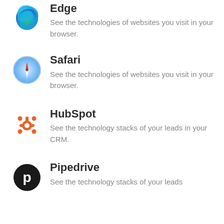[Figure (logo): Microsoft Edge browser logo - blue/green swirl]
Edge
See the technologies of websites you visit in your browser.
[Figure (logo): Safari browser logo - compass icon with red arrow on blue circle]
Safari
See the technologies of websites you visit in your browser.
[Figure (logo): HubSpot logo - orange sprocket/magnet icon]
HubSpot
See the technology stacks of your leads in your CRM.
[Figure (logo): Pipedrive logo - white p on black circle]
Pipedrive
See the technology stacks of your leads